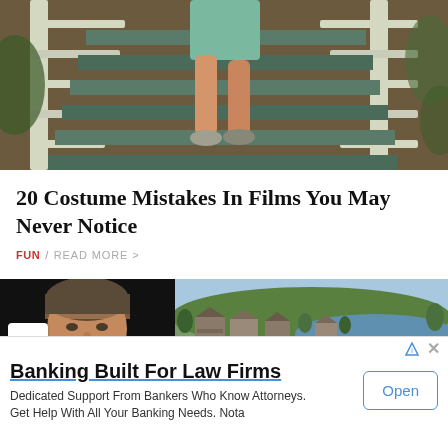[Figure (photo): Person climbing outdoor stairs with white wooden railing, garden/landscape in background]
20 Costume Mistakes In Films You May Never Notice
FUN / READ MORE >
[Figure (photo): Two thumbnail images side by side: left shows a man's face on dark background, right shows aerial view of houses near a lake]
Banking Built For Law Firms
Dedicated Support From Bankers Who Know Attorneys. Get Help With All Your Banking Needs. Nota